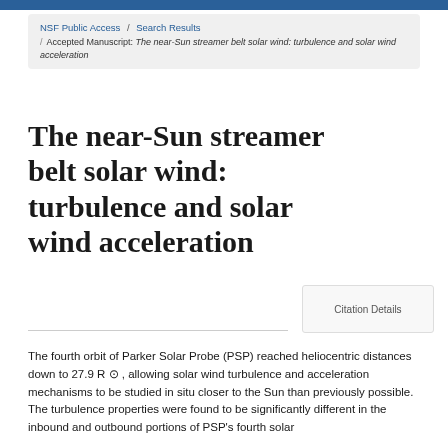NSF Public Access / Search Results / Accepted Manuscript: The near-Sun streamer belt solar wind: turbulence and solar wind acceleration
The near-Sun streamer belt solar wind: turbulence and solar wind acceleration
Citation Details
The fourth orbit of Parker Solar Probe (PSP) reached heliocentric distances down to 27.9 R ⊙ , allowing solar wind turbulence and acceleration mechanisms to be studied in situ closer to the Sun than previously possible. The turbulence properties were found to be significantly different in the inbound and outbound portions of PSP's fourth solar